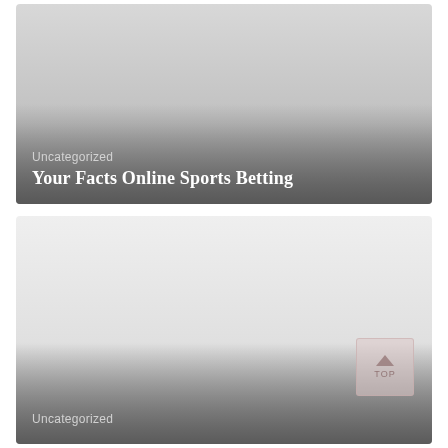[Figure (photo): Card with gray placeholder image, gradient overlay at bottom. Category label 'Uncategorized' and title 'Your Facts Online Sports Betting' overlaid on dark gradient.]
Uncategorized
Your Facts Online Sports Betting
[Figure (photo): Second card with light gray placeholder image, gradient overlay at bottom. Category label 'Uncategorized' overlaid on dark gradient. Back-to-top button visible at bottom right.]
Uncategorized